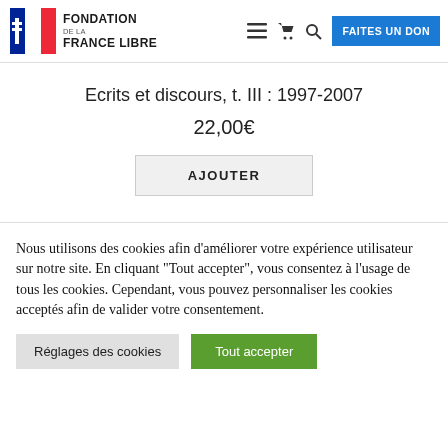FONDATION DE LA FRANCE LIBRE
Ecrits et discours, t. III : 1997-2007
22,00€
AJOUTER
Nous utilisons des cookies afin d'améliorer votre expérience utilisateur sur notre site. En cliquant "Tout accepter", vous consentez à l'usage de tous les cookies. Cependant, vous pouvez personnaliser les cookies acceptés afin de valider votre consentement.
Réglages des cookies
Tout accepter